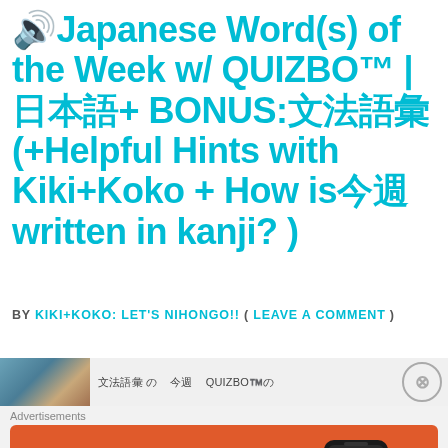🔊Japanese Word(s) of the Week w/ QUIZBO™ | 日本語+ BONUS:文法語彙 (+Helpful Hints with Kiki+Koko + How is今週 written in kanji? )
BY KIKI+KOKO: LET'S NIHONGO!! ( LEAVE A COMMENT )
[Figure (screenshot): Preview thumbnail strip showing a partial image on the left and Japanese text in the middle, with a close (X) button on the right]
[Figure (screenshot): DuckDuckGo advertisement banner with orange background, text 'Search, browse, and email with more privacy. All in One Free App' and DuckDuckGo logo with phone graphic]